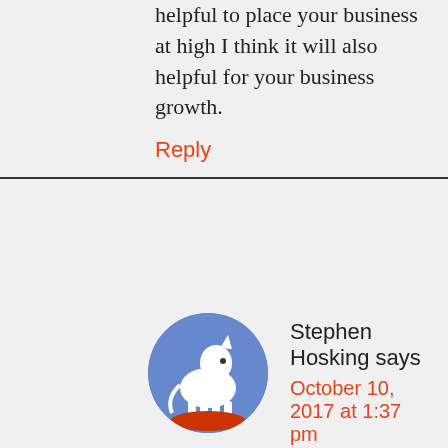helpful to place your business at high I think it will also helpful for your business growth.
Reply
Stephen Hosking says
October 10, 2017 at 1:37 pm
[Figure (photo): Circular avatar image of Stephen Hosking showing a white horse/unicorn figure on a blue background]
I'm so glad I stumbled on this page!
I'd been doing some research to pick an accounting package, and then I found in the comments here the advice to ask your accountant.
So, I emailed my accountant and within